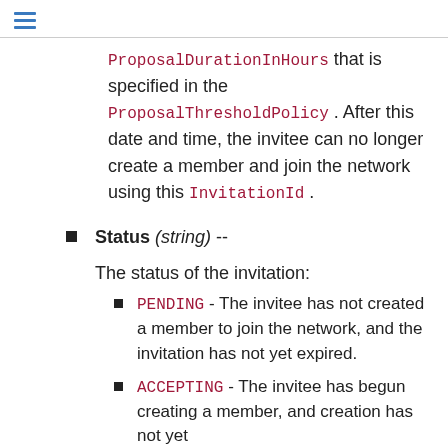ProposalDurationInHours that is specified in the ProposalThresholdPolicy . After this date and time, the invitee can no longer create a member and join the network using this InvitationId .
Status (string) --
The status of the invitation:
PENDING - The invitee has not created a member to join the network, and the invitation has not yet expired.
ACCEPTING - The invitee has begun creating a member, and creation has not yet